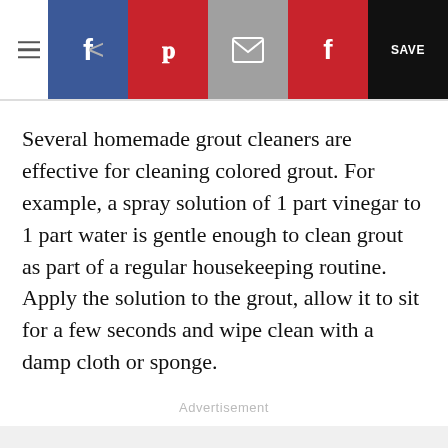Navigation bar with hamburger menu, back arrow, and social share buttons: Facebook, Pinterest, Email, Flipboard, SAVE
Several homemade grout cleaners are effective for cleaning colored grout. For example, a spray solution of 1 part vinegar to 1 part water is gentle enough to clean grout as part of a regular housekeeping routine. Apply the solution to the grout, allow it to sit for a few seconds and wipe clean with a damp cloth or sponge.
Advertisement